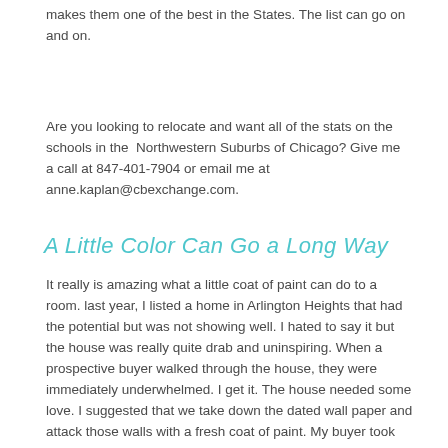makes them one of the best in the States. The list can go on and on.
Are you looking to relocate and want all of the stats on the schools in the Northwestern Suburbs of Chicago? Give me a call at 847-401-7904 or email me at anne.kaplan@cbexchange.com.
A Little Color Can Go a Long Way
It really is amazing what a little coat of paint can do to a room. last year, I listed a home in Arlington Heights that had the potential but was not showing well. I hated to say it but the house was really quite drab and uninspiring. When a prospective buyer walked through the house, they were immediately underwhelmed. I get it. The house needed some love. I suggested that we take down the dated wall paper and attack those walls with a fresh coat of paint. My buyer took my advice, hired painters and the very next day, wow. Just wow. It looked like a different house. Offers started to come in and shortly thereafter, SOLD!